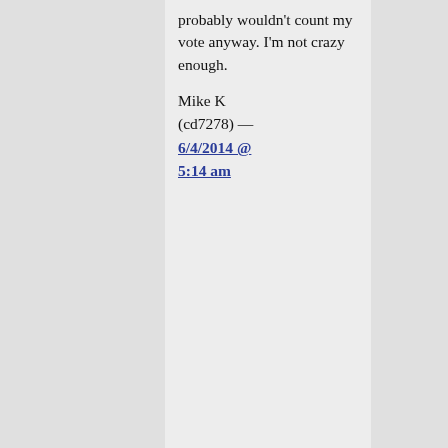probably wouldn't count my vote anyway. I'm not crazy enough.
Mike K (cd7278) — 6/4/2014 @ 5:14 am
24. Um, a question for/from those outside CA. Is there just one general primary, and the top two run against each other in the election, as opposed to Dem and